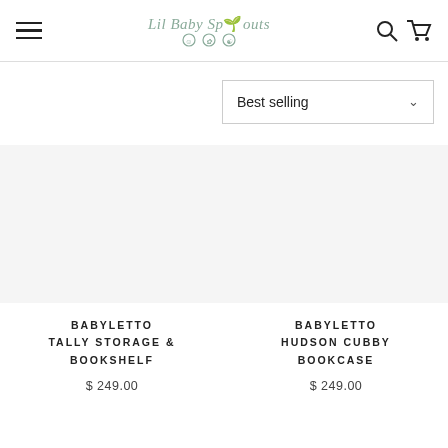Lil Baby Sprouts
Best selling
BABYLETTO TALLY STORAGE & BOOKSHELF
$ 249.00
BABYLETTO HUDSON CUBBY BOOKCASE
$ 249.00